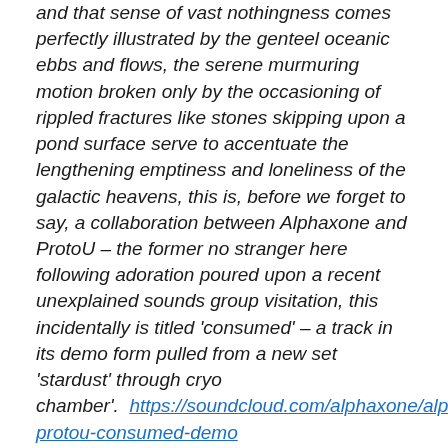and that sense of vast nothingness comes perfectly illustrated by the genteel oceanic ebbs and flows, the serene murmuring motion broken only by the occasioning of rippled fractures like stones skipping upon a pond surface serve to accentuate the lengthening emptiness and loneliness of the galactic heavens, this is, before we forget to say, a collaboration between Alphaxone and ProtoU – the former no stranger here following adoration poured upon a recent unexplained sounds group visitation, this incidentally is titled 'consumed' – a track in its demo form pulled from a new set 'stardust' through cryo chamber'.  https://soundcloud.com/alphaxone/alphaxone-protou-consumed-demo
The original sore thumbs the Residents are readying themselves for the release of a new full length entitled 'the ghost of hope' – a commentary on the great train wrecks